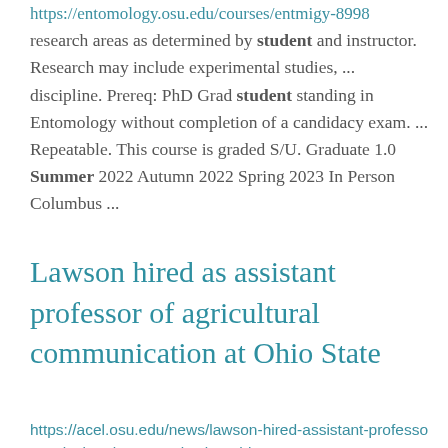https://entomology.osu.edu/courses/entmigy-8998 research areas as determined by student and instructor. Research may include experimental studies, ... discipline. Prereq: PhD Grad student standing in Entomology without completion of a candidacy exam. ... Repeatable. This course is graded S/U. Graduate 1.0 Summer 2022 Autumn 2022 Spring 2023 In Person Columbus ...
Lawson hired as assistant professor of agricultural communication at Ohio State
https://acel.osu.edu/news/lawson-hired-assistant-professor-agricultural-communication-ohio-state